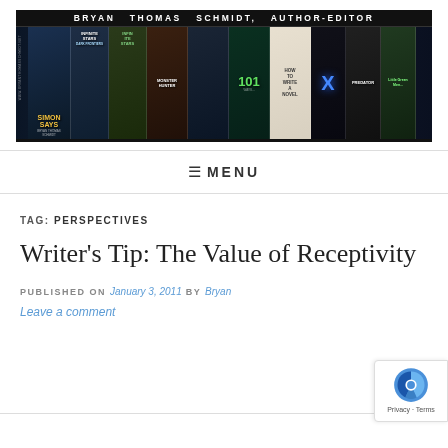[Figure (illustration): Banner for Bryan Thomas Schmidt, Author-Editor website showing book covers arranged in a collage with the author's name in large white letters on a dark background]
≡ MENU
TAG: PERSPECTIVES
Writer's Tip: The Value of Receptivity
PUBLISHED ON January 3, 2011 by Bryan
Leave a comment